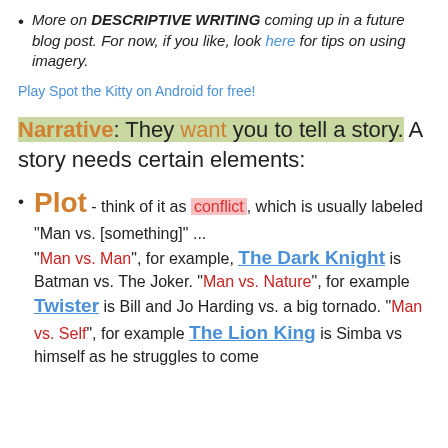More on DESCRIPTIVE WRITING coming up in a future blog post.  For now, if you like, look here for tips on using imagery.
Play Spot the Kitty on Android for free!
Narrative: They want you to tell a story.  A story needs certain elements:
Plot - think of it as conflict, which is usually labeled "Man vs. [something]" ... "Man vs. Man", for example, The Dark Knight is Batman vs. The Joker. "Man vs. Nature", for example Twister is Bill and Jo Harding vs. a big tornado.  "Man vs. Self", for example The Lion King is Simba vs himself as he struggles to come